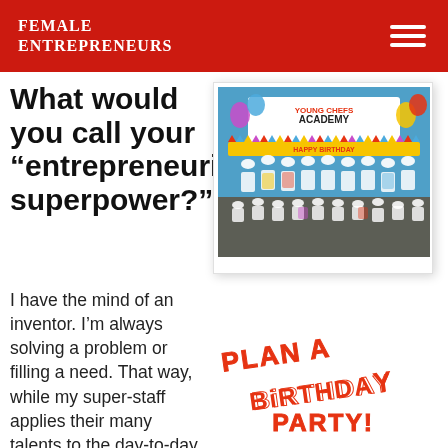Female Entrepreneurs
What would you call your “entrepreneurial superpower?”
[Figure (photo): Group photo of children in chef hats and white aprons in front of a Young Chefs Academy sign with a Happy Birthday banner]
[Figure (infographic): Colorful red and white text graphic reading: PLAN A BIRTHDAY PARTY!]
I have the mind of an inventor. I’m always solving a problem or filling a need. That way, while my super-staff applies their many talents to the day-to-day operation of my